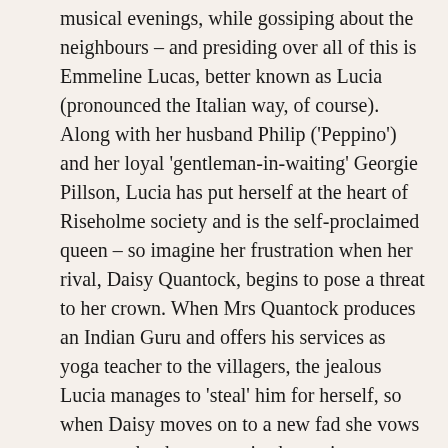musical evenings, while gossiping about the neighbours – and presiding over all of this is Emmeline Lucas, better known as Lucia (pronounced the Italian way, of course). Along with her husband Philip ('Peppino') and her loyal 'gentleman-in-waiting' Georgie Pillson, Lucia has put herself at the heart of Riseholme society and is the self-proclaimed queen – so imagine her frustration when her rival, Daisy Quantock, begins to pose a threat to her crown. When Mrs Quantock produces an Indian Guru and offers his services as yoga teacher to the villagers, the jealous Lucia manages to 'steal' him for herself, so when Daisy moves on to a new fad she vows not to make the same mistake again...
Lucia is such an unpleasant character! From her irritating habit of speaking baby talk with Georgie and her insistence on dropping Italian phrases into